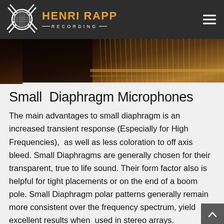HENRI RAPP RECORDING
[Figure (photo): Close-up photo of piano strings and soundboard, dark warm tones]
Small Diaphragm Microphones
The main advantages to small diaphragm is an increased transient response (Especially for High Frequencies), as well as less coloration to off axis bleed. Small Diaphragms are generally chosen for their transparent, true to life sound. Their form factor also is helpful for tight placements or on the end of a boom pole. Small Diaphragm polar patterns generally remain more consistent over the frequency spectrum, yield excellent results when used in stereo arrays.